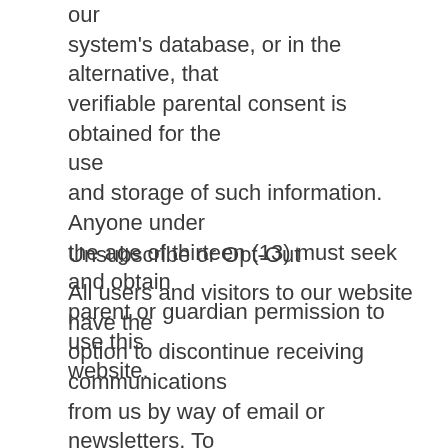our system's database, or in the alternative, that verifiable parental consent is obtained for the use and storage of such information. Anyone under the age of thirteen (13) must seek and obtain parent or guardian permission to use this website.
Unsubscribe or Opt-Out
All users and visitors to our website have the option to discontinue receiving communications from us by way of email or newsletters. To discontinue or unsubscribe from our website please send an email that you wish to unsubscribe to